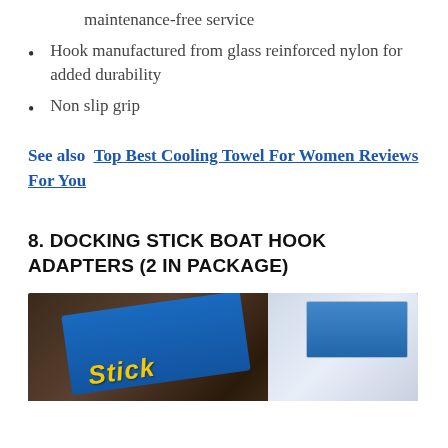maintenance-free service
Hook manufactured from glass reinforced nylon for added durability
Non slip grip
See also  Top Best Cooling Towel For Women Reviews For You
8. DOCKING STICK BOAT HOOK ADAPTERS (2 IN PACKAGE)
[Figure (photo): Product photo of Docking Stick Boat Hook Adapters package on a wooden surface, showing blue packaging with yellow 'Stick' text and a white product card.]